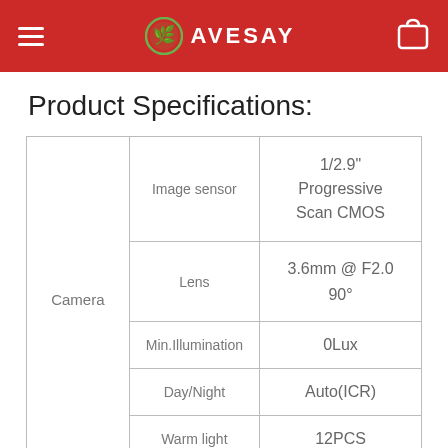AVESAY
Product Specifications:
| Category | Feature | Value |
| --- | --- | --- |
| Camera | Image sensor | 1/2.9" Progressive Scan CMOS |
| Camera | Lens | 3.6mm @ F2.0 90° |
| Camera | Min.Illumination | 0Lux |
| Camera | Day/Night | Auto(ICR) |
| Camera | Warm light | 12PCS |